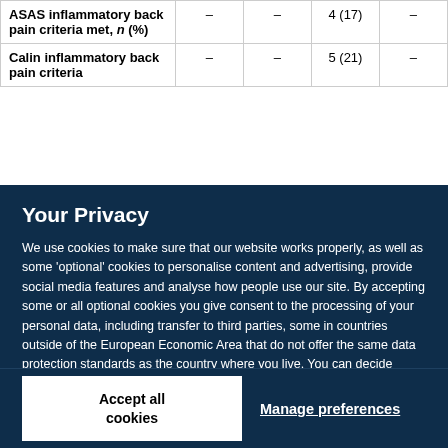|  |  |  |  |  |
| --- | --- | --- | --- | --- |
| ASAS inflammatory back pain criteria met, n (%) | – | – | 4 (17) | – |
| Calin inflammatory back pain criteria... | – | – | 5 (21) | – |
Your Privacy
We use cookies to make sure that our website works properly, as well as some 'optional' cookies to personalise content and advertising, provide social media features and analyse how people use our site. By accepting some or all optional cookies you give consent to the processing of your personal data, including transfer to third parties, some in countries outside of the European Economic Area that do not offer the same data protection standards as the country where you live. You can decide which optional cookies to accept by clicking on 'Manage Settings', where you can also find more information about how your personal data is processed. Further information can be found in our privacy policy.
Accept all cookies
Manage preferences